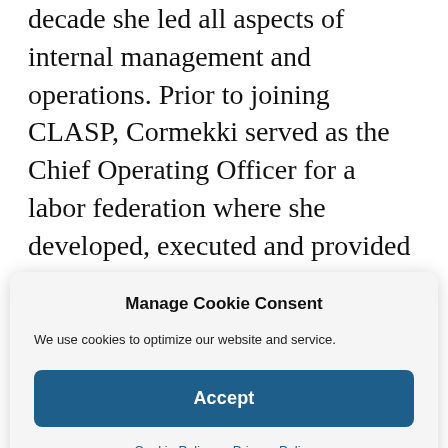decade she led all aspects of internal management and operations. Prior to joining CLASP, Cormekki served as the Chief Operating Officer for a labor federation where she developed, executed and provided leadership for all of the organization's financial, operational and human systems. She holds a bachelor's degree in accounting from North Carolina
Manage Cookie Consent
We use cookies to optimize our website and service.
Accept
Cookie Policy   Privacy Policy